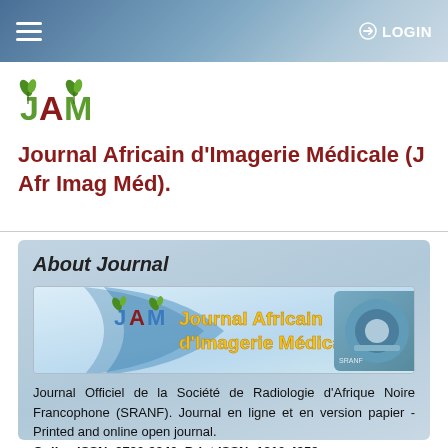≡   LOGIN
[Figure (logo): JAM journal logo — green leaf stylized letters JAM]
Journal Africain d'Imagerie Médicale (J Afr Imag Méd).
About Journal
[Figure (illustration): Journal Africain d'Imagerie Médicale banner with JAM logo, blue text on light background and MRI machine photo on right]
Journal Officiel de la Société de Radiologie d'Afrique Noire Francophone (SRANF). Journal en ligne et en version papier - Printed and online open journal. Online ISSN: 2790-9840. Print ISSN: 1810-4959